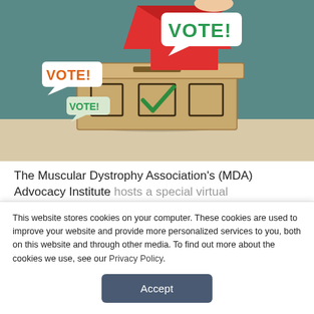[Figure (illustration): Photo illustration of a wooden ballot box on a table with a hand inserting a red envelope. The box has three checkboxes drawn on it, with a green checkmark in the middle one. Speech bubbles say 'VOTE!' in green, 'VOTE!' in orange/red, and 'VOTE!' in green (smaller).]
The Muscular Dystrophy Association's (MDA) Advocacy Institute hosts a special virtual
This website stores cookies on your computer. These cookies are used to improve your website and provide more personalized services to you, both on this website and through other media. To find out more about the cookies we use, see our Privacy Policy.